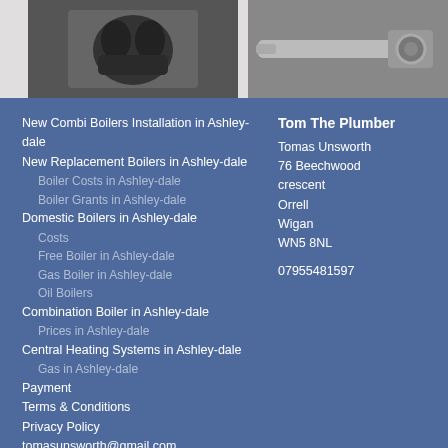[Figure (photo): Black and white photo of hands (left image)]
[Figure (photo): Black and white photo of a wrench/spanner (right image)]
New Combi Boilers Installation in Ashley-dale
New Replacement Boilers in Ashley-dale
Boiler Costs in Ashley-dale
Boiler Grants in Ashley-dale
Domestic Boilers in Ashley-dale
Costs
Free Boiler in Ashley-dale
Gas Boiler in Ashley-dale
Oil Boilers
Combination Boiler in Ashley-dale
Prices in Ashley-dale
Central Heating Systems in Ashley-dale
Gas in Ashley-dale
Payment
Terms & Conditions
Privacy Policy
tomasunsworth@gmail.com
Tom The Plumber
Tomas Unsworth
76 Beechwood crescent
Orrell
Wigan
WN5 8NL

07955481597